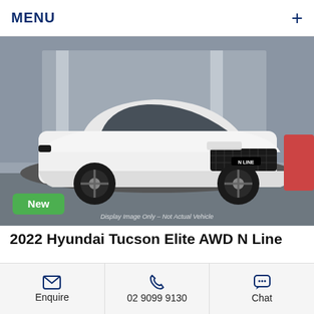MENU
[Figure (photo): White Hyundai Tucson N Line SUV photographed at a dealership, front three-quarter view. Green 'New' badge in bottom-left corner. Watermark text: 'Display Image Only – Not Actual Vehicle']
2022 Hyundai Tucson Elite AWD N Line
Automatic   SUV
Enquire   02 9099 9130   Chat